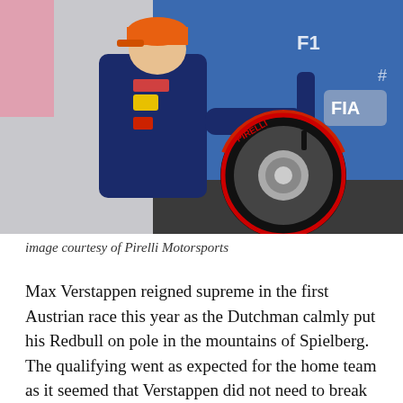[Figure (photo): A Formula 1 driver in Red Bull racing suit and orange McLaren cap signing a Pirelli tire against a blue FIA/F1 branded backdrop]
image courtesy of Pirelli Motorsports
Max Verstappen reigned supreme in the first Austrian race this year as the Dutchman calmly put his Redbull on pole in the mountains of Spielberg. The qualifying went as expected for the home team as it seemed that Verstappen did not need to break a sweat to achieve pole position.